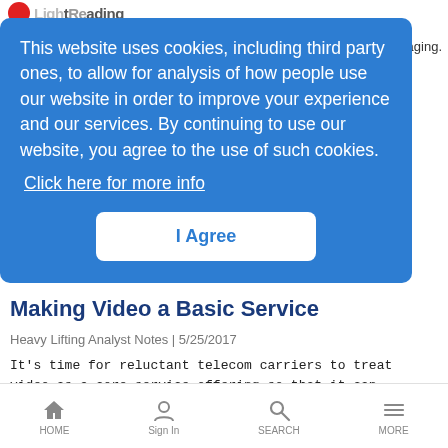LightReading
This website uses cookies, including third party ones, to allow for analysis of how people use our website in order to improve your experience and our services. By continuing to use our website, you agree to the use of such cookies.
Click here for more info
I Agree
Making Video a Basic Service
Heavy Lifting Analyst Notes | 5/25/2017
It's time for reluctant telecom carriers to treat video as a core service offering so that it can generate plenty of fresh revenue and growth opportunities for them.
HOME  Sign In  SEARCH  MORE